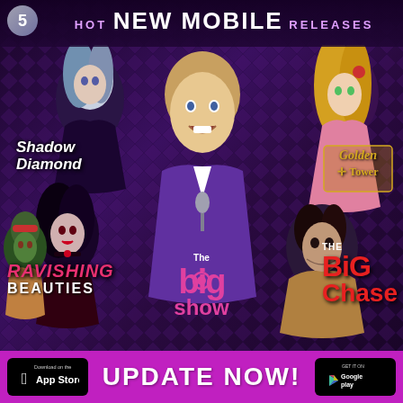5 HOT NEW MOBILE RELEASES
[Figure (illustration): Promotional banner for mobile casino/slot games featuring illustrated characters: left side shows Shadow Diamond game art with dark-haired female characters, center shows The Big Show game character (male performer), right shows Golden Tower with a blonde female and The Big Chase with a male character. Five game titles are displayed: Shadow Diamond, Ravishing Beauties, The Big Show, Golden Tower, The Big Chase.]
UPDATE NOW!
[Figure (logo): Download on the App Store button (Apple)]
[Figure (logo): Get it on Google Play button]